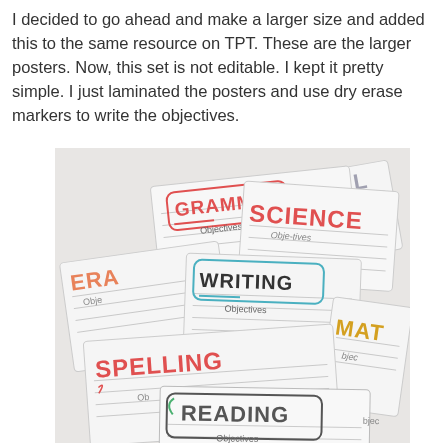I decided to go ahead and make a larger size and added this to the same resource on TPT.  These are the larger posters.  Now, this set is not editable.  I kept it pretty simple.  I just laminated the posters and use dry erase markers to write the objectives.
[Figure (photo): Photo of multiple colorful classroom objective posters fanned out, showing labels including GRAMMAR, SCIENCE, SOCIAL Studies, WRITING, READING, SPELLING, MATH, and ERA (partially visible), each with 'Objectives' subtitle, on lined notebook-style paper backgrounds.]